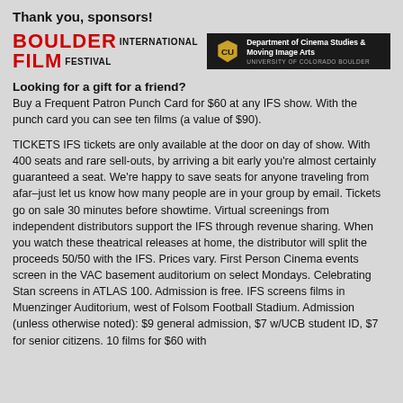Thank you, sponsors!
[Figure (logo): Boulder International Film Festival logo (red text) alongside University of Colorado Boulder Department of Cinema Studies & Moving Image Arts logo (black background with CU shield)]
Looking for a gift for a friend?
Buy a Frequent Patron Punch Card for $60 at any IFS show. With the punch card you can see ten films (a value of $90).
TICKETS IFS tickets are only available at the door on day of show. With 400 seats and rare sell-outs, by arriving a bit early you're almost certainly guaranteed a seat. We're happy to save seats for anyone traveling from afar–just let us know how many people are in your group by email. Tickets go on sale 30 minutes before showtime. Virtual screenings from independent distributors support the IFS through revenue sharing. When you watch these theatrical releases at home, the distributor will split the proceeds 50/50 with the IFS. Prices vary. First Person Cinema events screen in the VAC basement auditorium on select Mondays. Celebrating Stan screens in ATLAS 100. Admission is free. IFS screens films in Muenzinger Auditorium, west of Folsom Football Stadium. Admission (unless otherwise noted): $9 general admission, $7 w/UCB student ID, $7 for senior citizens. 10 films for $60 with a punch card. We love $1 donations or more with each film.